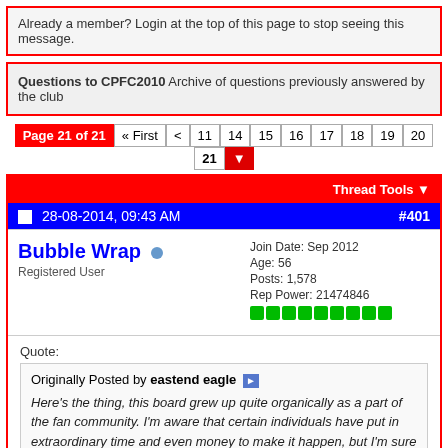Already a member? Login at the top of this page to stop seeing this message.
Questions to CPFC2010 Archive of questions previously answered by the club
Page 21 of 21 « First < 11 14 15 16 17 18 19 20 21
Thread Tools
28-08-2014, 09:43 AM #401
Bubble Wrap
Registered User
Join Date: Sep 2012
Age: 56
Posts: 1,578
Rep Power: 21474846
Quote:
Originally Posted by eastend eagle
Here's the thing, this board grew up quite organically as a part of the fan community. I'm aware that certain individuals have put in extraordinary time and even money to make it happen, but I'm sure that most contributors here feel a sense of membership and even 'ownership' of this community.

It's absolutely great having the owners post here, particularly Steve B., who is clearly an avid BBS'er just like the rest of us - long may that continue!